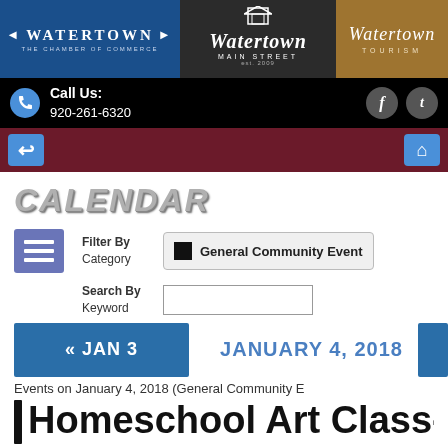[Figure (logo): Watertown Chamber of Commerce logo on blue background, Watertown Main Street logo on dark background, Watertown Tourism logo on tan/brown background]
Call Us: 920-261-6320
CALENDAR
Filter By Category — General Community Event
Search By Keyword
JANUARY 4, 2018
« JAN 3
Events on January 4, 2018 (General Community E...
Homeschool Art Class- 4th g...